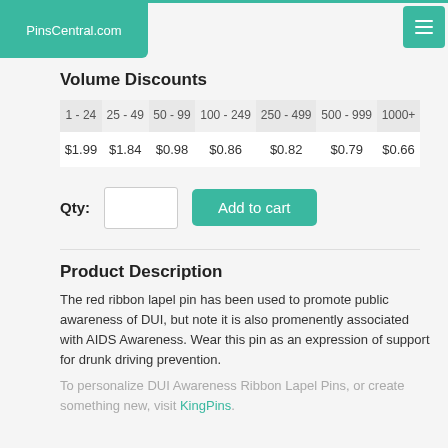PinsCentral.com
Volume Discounts
| 1 - 24 | 25 - 49 | 50 - 99 | 100 - 249 | 250 - 499 | 500 - 999 | 1000+ |
| --- | --- | --- | --- | --- | --- | --- |
| $1.99 | $1.84 | $0.98 | $0.86 | $0.82 | $0.79 | $0.66 |
Qty:
Product Description
The red ribbon lapel pin has been used to promote public awareness of DUI, but note it is also promenently associated with AIDS Awareness. Wear this pin as an expression of support for drunk driving prevention.
To personalize DUI Awareness Ribbon Lapel Pins, or create something new, visit KingPins.